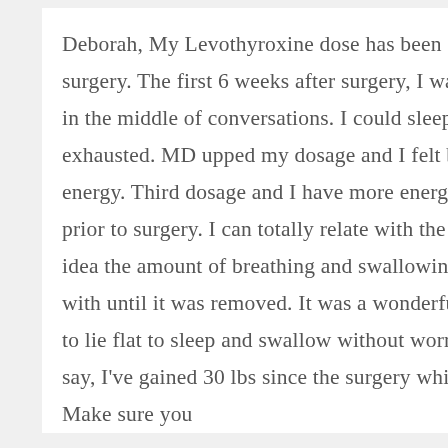Deborah, My Levothyroxine dose has been changed three times since surgery. The first 6 weeks after surgery, I was literally falling asleep in the middle of conversations. I could sleep 15 hours and still feel exhausted. MD upped my dosage and I felt better but still had no energy. Third dosage and I have more energy but not the same as prior to surgery. I can totally relate with the breathing part. I had no idea the amount of breathing and swallowing issues I had been living with until it was removed. It was a wonderful experience being able to lie flat to sleep and swallow without worrying about choking. I will say, I've gained 30 lbs since the surgery which I'm not happy about. Make sure you